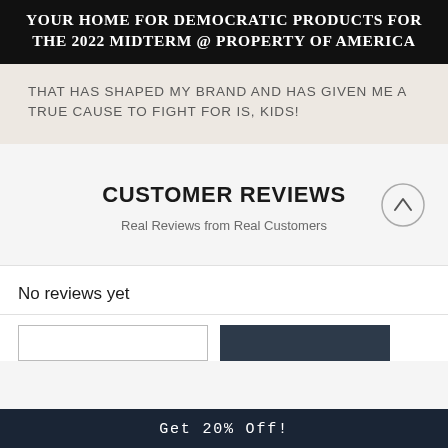YOUR HOME FOR DEMOCRATIC PRODUCTS FOR THE 2022 MIDTERM @ PROPERTY OF AMERICA
THAT HAS SHAPED MY BRAND AND HAS GIVEN ME A TRUE CAUSE TO FIGHT FOR IS, KIDS!
CUSTOMER REVIEWS
Real Reviews from Real Customers
No reviews yet
Get 20% Off!